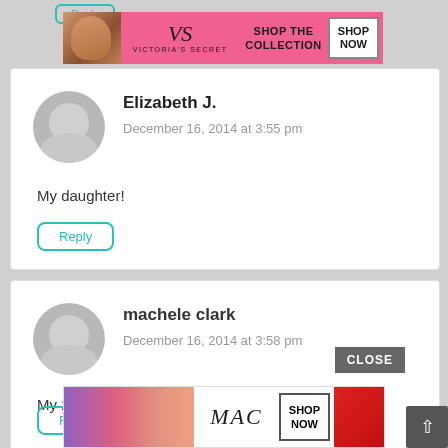Reply
[Figure (illustration): Victoria's Secret advertisement banner with model, VS logo, 'SHOP THE COLLECTION' text, and 'SHOP NOW' button]
Elizabeth J.
December 16, 2014 at 3:55 pm
My daughter!
Reply
machele clark
December 16, 2014 at 3:58 pm
My 2 year.old
Reply
CLOSE
[Figure (illustration): MAC cosmetics advertisement banner with lipstick products, MAC logo, and 'SHOP NOW' button]